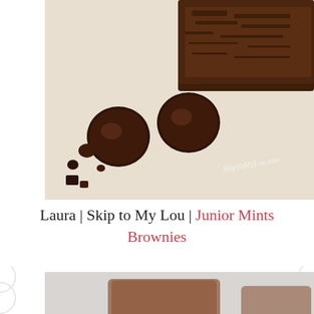[Figure (photo): Top-down view of brownies on parchment paper with chocolate Junior Mints candies scattered around. Watermark reads 'SkipToMyLou.com']
Laura | Skip to My Lou | Junior Mints Brownies
[Figure (photo): Close-up side view of a chocolate-frosted brownie with Junior Mints candy in the foreground and more brownies blurred in the background]